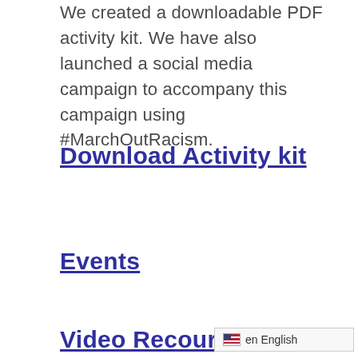We created a downloadable PDF activity kit. We have also launched a social media campaign to accompany this campaign using #MarchOutRacism.
Download Activity kit
Events
Video Recources
en English